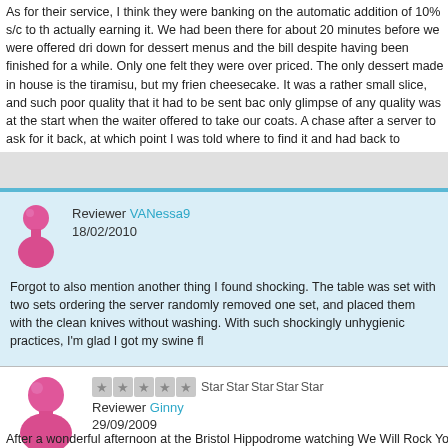As for their service, I think they were banking on the automatic addition of 10% s/c to the actually earning it. We had been there for about 20 minutes before we were offered dri down for dessert menus and the bill despite having been finished for a while. Only one felt they were over priced. The only dessert made in house is the tiramisu, but my frien cheesecake. It was a rather small slice, and such poor quality that it had to be sent bac only glimpse of any quality was at the start when the waiter offered to take our coats. A chase after a server to ask for it back, at which point I was told where to find it and had back to Sergio's, nor would I recommend it to anyone.
Reviewer VANessa9
18/02/2010
Forgot to also mention another thing I found shocking. The table was set with two sets ordering the server randomly removed one set, and placed them with the clean knives without washing. With such shockingly unhygienic practices, I'm glad I got my swine fl
Reviewer Ginny
29/09/2009
After a wonderful afternoon at the Bristol Hippodrome watching We Will Rock You s...